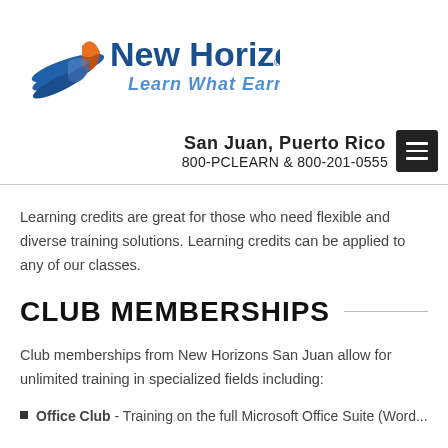[Figure (logo): New Horizons logo with tagline 'Learn What Earns']
San Juan, Puerto Rico
800-PCLEARN  & 800-201-0555
Learning credits are great for those who need flexible and diverse training solutions. Learning credits can be applied to any of our classes.
CLUB MEMBERSHIPS
Club memberships from New Horizons San Juan allow for unlimited training in specialized fields including:
Office Club - Training on the full Microsoft Office Suite (Word...